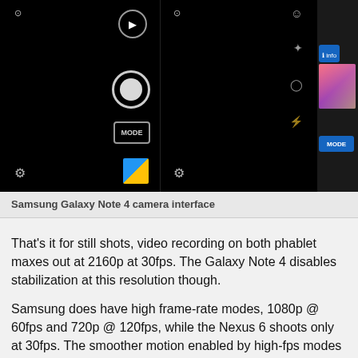[Figure (screenshot): Samsung Galaxy Note 4 camera interface screenshots showing camera UI with icons for video, photo, mode, settings on black background across multiple panels]
Samsung Galaxy Note 4 camera interface
That's it for still shots, video recording on both phablet maxes out at 2160p at 30fps. The Galaxy Note 4 disables stabilization at this resolution though.
Samsung does have high frame-rate modes, 1080p @ 60fps and 720p @ 120fps, while the Nexus 6 shoots only at 30fps. The smoother motion enabled by high-fps modes can make a great difference in fast-paced scenes, plus you can try slow motion effects.
The advantage in selfie photos of the Samsung Galaxy Note 4 extends to video too, it records at 1440p. That's the middle step between 1080p and 2160p and exactly four times as many pixels as the 720p video that the Motorola Nexus 6 offers.